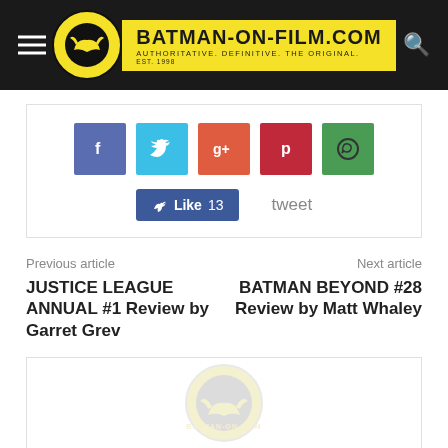BATMAN-ON-FILM.COM — AUTHORITATIVE. DEFINITIVE. THE ORIGINAL. EST. 1998
[Figure (infographic): Social share buttons: Facebook, Twitter, Google+, Pinterest, WhatsApp, Facebook Like (13), Tweet]
Previous article
JUSTICE LEAGUE ANNUAL #1 Review by Garret Grev
Next article
BATMAN BEYOND #28 Review by Matt Whaley
[Figure (logo): Batman-On-Film.com watermark logo, faded/light yellow]